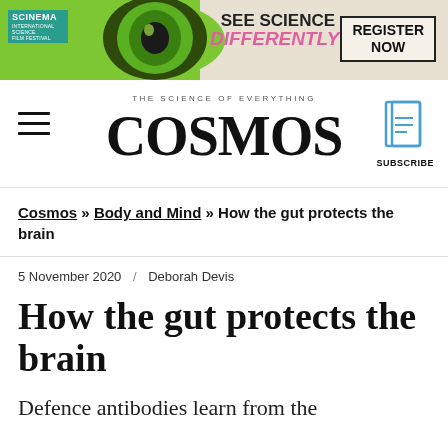[Figure (infographic): SCINEMA festival banner ad with green eye graphic, 'SEE SCIENCE DIFFERENTLY!' text and 'REGISTER NOW' button]
THE SCIENCE OF EVERYTHING
COSMOS
Cosmos » Body and Mind » How the gut protects the brain
5 November 2020  /  Deborah Devis
How the gut protects the brain
Defence antibodies learn from the